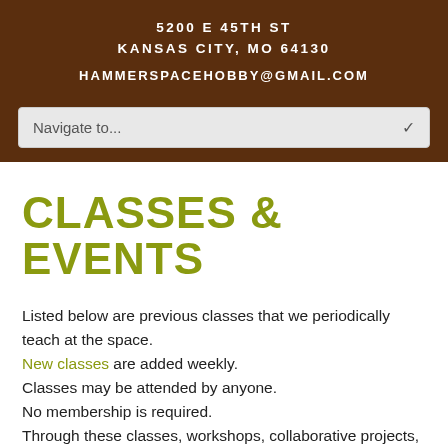5200 E 45TH ST
KANSAS CITY, MO 64130

HAMMERSPACEHOBBY@GMAIL.COM
Navigate to...
CLASSES & EVENTS
Listed below are previous classes that we periodically teach at the space.
New classes are added weekly.
Classes may be attended by anyone.
No membership is required.
Through these classes, workshops, collaborative projects, and other activities,
we want to encourage research, knowledge exchange, learning, and mentoring in a safe space.